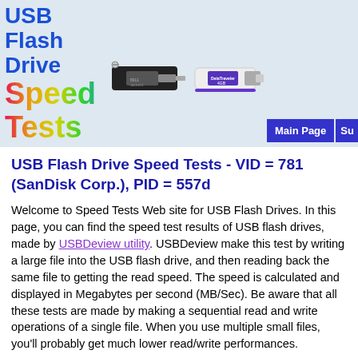USB Flash Drive Speed Tests
[Figure (photo): Two USB flash drives: one black SanDisk and one white Kingston DataTraveler with purple accent]
USB Flash Drive Speed Tests - VID = 781 (SanDisk Corp.), PID = 557d
Welcome to Speed Tests Web site for USB Flash Drives. In this page, you can find the speed test results of USB flash drives, made by USBDeview utility. USBDeview make this test by writing a large file into the USB flash drive, and then reading back the same file to getting the read speed. The speed is calculated and displayed in Megabytes per second (MB/Sec). Be aware that all these tests are made by making a sequential read and write operations of a single file. When you use multiple small files, you'll probably get much lower read/write performances.
If you want to test the read/write speed of your own USB drives and share the results with other people, you can follow the